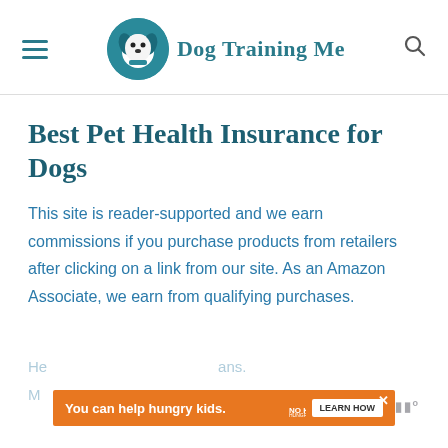[Figure (logo): Dog Training Me website header with hamburger menu icon, circular teal dog logo, site name 'Dog Training Me' in teal, and search icon]
Best Pet Health Insurance for Dogs
This site is reader-supported and we earn commissions if you purchase products from retailers after clicking on a link from our site. As an Amazon Associate, we earn from qualifying purchases.
[Figure (infographic): Advertisement banner: orange background with text 'You can help hungry kids.' No Kid Hungry logo and 'LEARN HOW' button, with close X button]